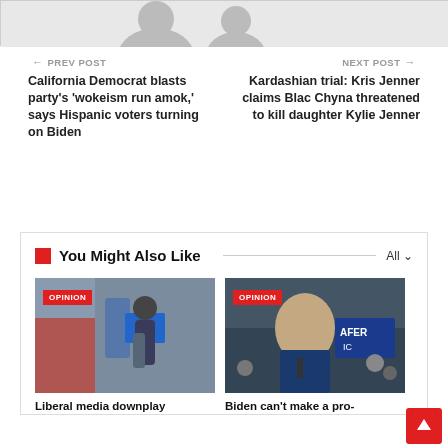[Figure (photo): Partial view of a person, top portion only, gray background]
← PREV POST
California Democrat blasts party's 'wokeism run amok,' says Hispanic voters turning on Biden
NEXT POST →
Kardashian trial: Kris Jenner claims Blac Chyna threatened to kill daughter Kylie Jenner
You Might Also Like
[Figure (photo): Person pumping gas at a gas station. OPINION badge overlay.]
Liberal media downplay
[Figure (photo): Biden speaking at a rally. OPINION badge overlay.]
Biden can't make a pro-